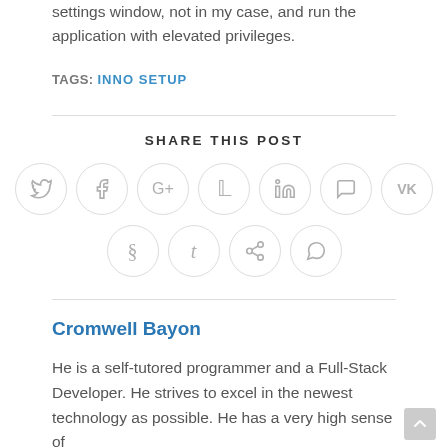settings window, not in my case, and run the application with elevated privileges.
TAGS: INNO SETUP
SHARE THIS POST
[Figure (infographic): Social media share buttons: Twitter, Facebook, Google+, Pinterest, LinkedIn, Viber, VK (top row); Reddit, Tumblr, Delicious, WhatsApp (bottom row)]
Cromwell Bayon
He is a self-tutored programmer and a Full-Stack Developer. He strives to excel in the newest technology as possible. He has a very high sense of